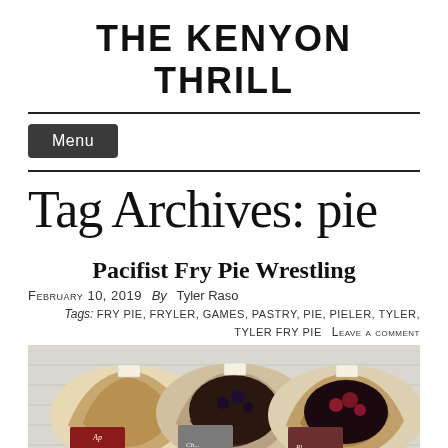THE KENYON THRILL
Menu
Tag Archives: pie
Pacifist Fry Pie Wrestling
February 10, 2019  By  Tyler Raso
Tags: fry pie, fryler, games, pastry, pie, pieler, tyler, tyler fry pie   Leave a comment
[Figure (photo): Three fry pies in packaging viewed from above, appearing to be apple, chocolate, and another variety.]